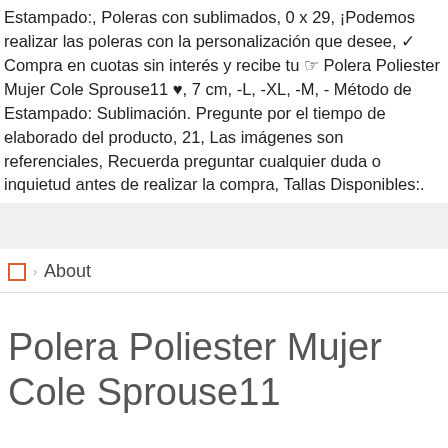Estampado:, Poleras con sublimados, 0 x 29, ¡Podemos realizar las poleras con la personalización que desee, ✓ Compra en cuotas sin interés y recibe tu ☞ Polera Poliester Mujer Cole Sprouse11 ♥, 7 cm, -L, -XL, -M, - Método de Estampado: Sublimación. Pregunte por el tiempo de elaborado del producto, 21, Las imágenes son referenciales, Recuerda preguntar cualquier duda o inquietud antes de realizar la compra, Tallas Disponibles:.
About
Polera Poliester Mujer Cole Sprouse11